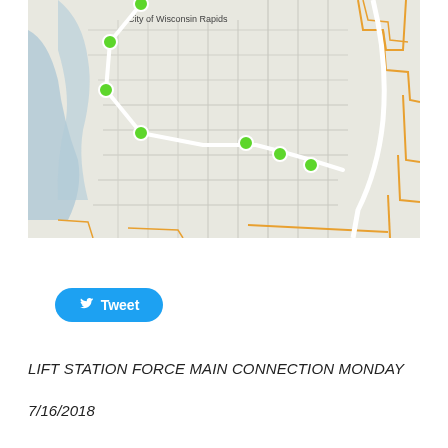[Figure (map): Street map of City of Wisconsin Rapids showing a white route line with green circular waypoints connecting multiple locations across the city. Orange boundary lines visible on right and bottom edges. Blue-grey water feature (river) on left side.]
Tweet
LIFT STATION FORCE MAIN CONNECTION MONDAY
7/16/2018